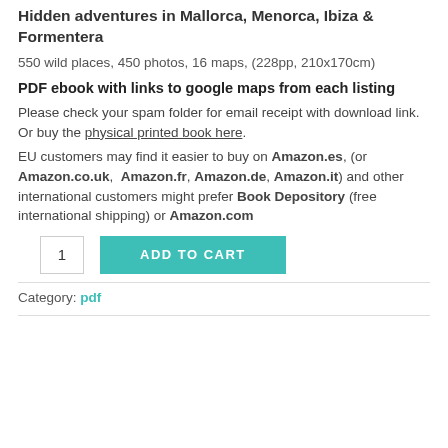Hidden adventures in Mallorca, Menorca, Ibiza & Formentera
550 wild places, 450 photos, 16 maps, (228pp, 210x170cm)
PDF ebook with links to google maps from each listing
Please check your spam folder for email receipt with download link. Or buy the physical printed book here.
EU customers may find it easier to buy on Amazon.es, (or Amazon.co.uk, Amazon.fr, Amazon.de, Amazon.it) and other international customers might prefer Book Depository (free international shipping) or Amazon.com
[Figure (other): Add to cart UI: quantity input box showing '1' and a teal 'ADD TO CART' button]
Category: pdf